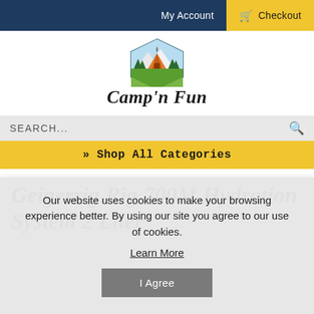My Account | Checkout
[Figure (logo): Camp'n Fun logo with illustrated camping tent and mountains inside a hexagonal badge]
Camp'n Fun
SEARCH...
>> Shop All Categories
Geigerrig Rig 700M Hydration System 2 Liter
Our website uses cookies to make your browsing experience better. By using our site you agree to our use of cookies.
Learn More
I Agree